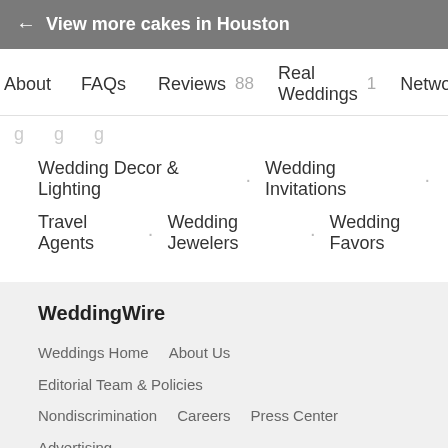← View more cakes in Houston
About   FAQs   Reviews 88   Real Weddings 1   Network
Wedding Decor & Lighting · Wedding Invitations ·
Travel Agents · Wedding Jewelers · Wedding Favors
WeddingWire
Weddings Home   About Us   Editorial Team & Policies
Nondiscrimination   Careers   Press Center   Advertising
Terms of Use   Privacy Policy   Do Not Sell My Info
CA Privacy   Web Accessibility
Find vendors